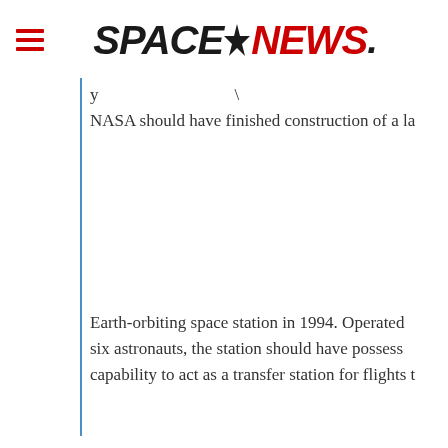SPACENEWS.
NASA should have finished construction of a la
Earth-orbiting space station in 1994. Operated by six astronauts, the station should have possess capability to act as a transfer station for flights t
Moon and beyond. Had the Congress followed issued by the President George H. W. Bush in 1